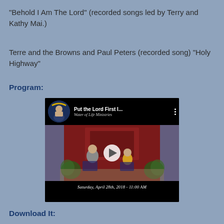“Behold I Am The Lord” (recorded songs led by Terry and Kathy Mai.)
Terre and the Browns and Paul Peters (recorded song) “Holy Highway”
Program:
[Figure (screenshot): Embedded video thumbnail for 'Put the Lord First I...' from Water of Life Ministries, dated Saturday, April 28th, 2018 - 11:00 AM, showing two people seated on a stage with a fireplace background, with a play button overlay.]
Download It: